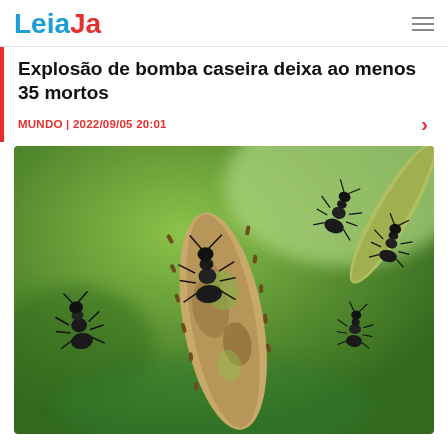LeiaJa
Explosão de bomba caseira deixa ao menos 35 mortos
MUNDO | 2022/09/05 20:01
[Figure (photo): Close-up macro photograph of multiple black ants climbing along a plant stem or branch, with a blurred green background.]